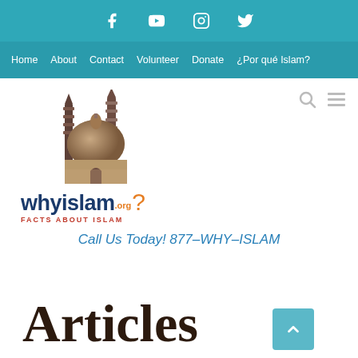Social icons: Facebook, YouTube, Instagram, Twitter
Home  About  Contact  Volunteer  Donate  ¿Por qué Islam?
[Figure (logo): WhyIslam.org logo with mosque illustration and tagline FACTS ABOUT ISLAM]
Call Us Today! 877-WHY-ISLAM
Articles